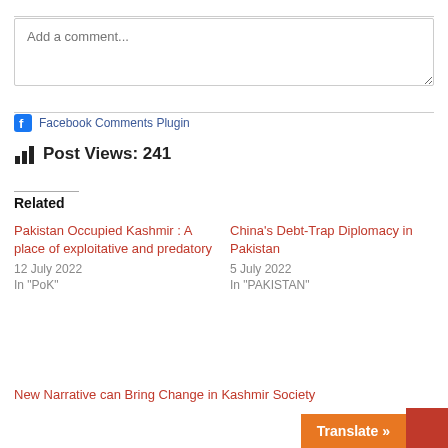Add a comment...
Facebook Comments Plugin
Post Views: 241
Related
Pakistan Occupied Kashmir : A place of exploitative and predatory
12 July 2022
In "PoK"
China's Debt-Trap Diplomacy in Pakistan
5 July 2022
In "PAKISTAN"
New Narrative can Bring Change in Kashmir Society